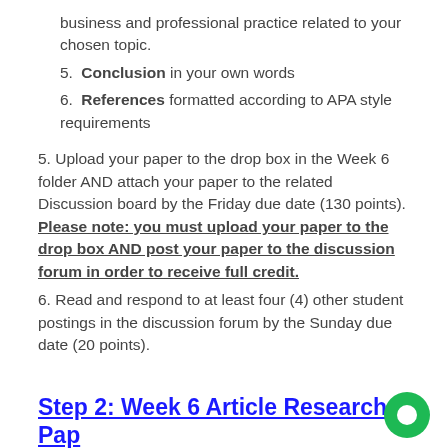business and professional practice related to your chosen topic.
5. Conclusion in your own words
6. References formatted according to APA style requirements
5. Upload your paper to the drop box in the Week 6 folder AND attach your paper to the related Discussion board by the Friday due date (130 points). Please note: you must upload your paper to the drop box AND post your paper to the discussion forum in order to receive full credit.
6. Read and respond to at least four (4) other student postings in the discussion forum by the Sunday due date (20 points).
Step 2: Week 6 Article Research Paper Discussion Forum